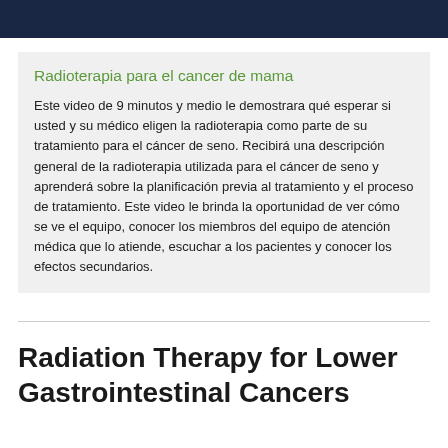Radioterapia para el cancer de mama
Este video de 9 minutos y medio le demostrara qué esperar si usted y su médico eligen la radioterapia como parte de su tratamiento para el cáncer de seno. Recibirá una descripción general de la radioterapia utilizada para el cáncer de seno y aprenderá sobre la planificación previa al tratamiento y el proceso de tratamiento. Este video le brinda la oportunidad de ver cómo se ve el equipo, conocer los miembros del equipo de atención médica que lo atiende, escuchar a los pacientes y conocer los efectos secundarios.
Radiation Therapy for Lower Gastrointestinal Cancers